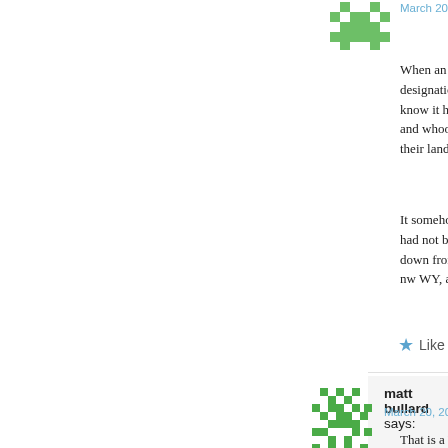March 20, 2007 at 2:53 p
When an endangered designation under the know it has also been and whooping cranes their land, but clearly
It somehow doesn't d had not been the sele down from nwMT an nw WY, and receivin
Like
matt bullard says:
March 20, 2007 at 3:05 p
That is a VERY good was made when the o recolonization option time to achieve recov greater protection. Sc species that was natu full protections of the